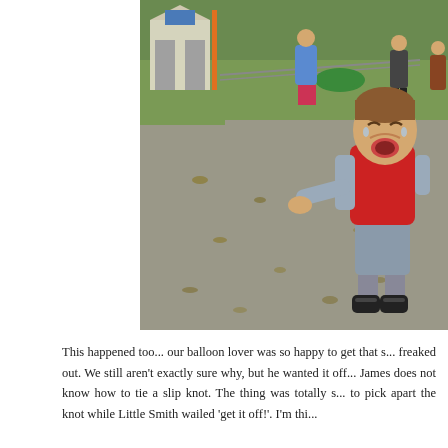[Figure (photo): A toddler boy crying and throwing a tantrum outdoors on a paved path. He is wearing a red quilted vest over a gray long-sleeve shirt, gray shorts, gray socks, and black sneakers. His arms are outstretched and face is scrunched in distress. In the background there is a park setting with grass, a tent/booth structure, a fence, a wheelbarrow, and other people walking.]
This happened too... our balloon lover was so happy to get that s... freaked out. We still aren't exactly sure why, but he wanted it off... James does not know how to tie a slip knot. The thing was totally s... to pick apart the knot while Little Smith wailed 'get it off!'. I'm thi...